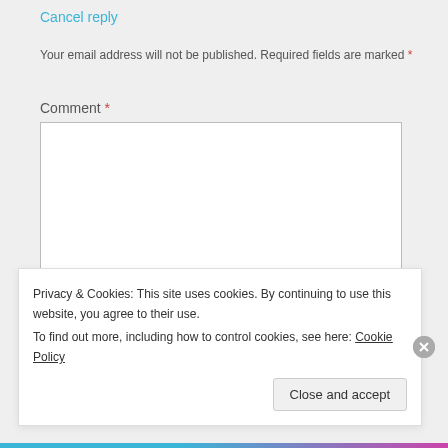Cancel reply
Your email address will not be published. Required fields are marked *
Comment *
[Figure (screenshot): Empty comment textarea input box with resize handle]
Name *
Privacy & Cookies: This site uses cookies. By continuing to use this website, you agree to their use.
To find out more, including how to control cookies, see here: Cookie Policy
Close and accept